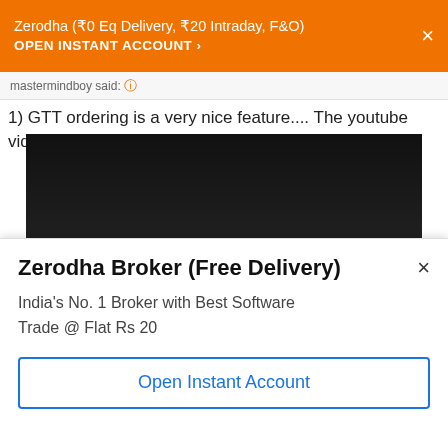Zerodha (₹0 Eq Delivery, ₹20 Intraday, F&O) OPEN INSTANT ACCOUNT ›
mastermindboy said:
1) GTT ordering is a very nice feature.... The youtube video
[Figure (screenshot): Embedded YouTube video placeholder showing 'This video is private' with a circle exclamation icon and 'Click to expand...' link in orange]
DP Charges are charges for Demat Account . Incoming is Free and out going is Rs 20 Plus GST only for those client where
Zerodha Broker (Free Delivery)
India's No. 1 Broker with Best Software
Trade @ Flat Rs 20
Open Instant Account